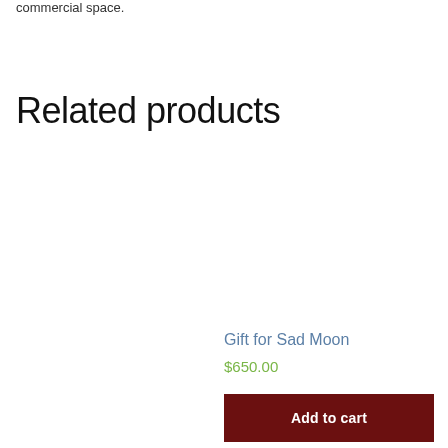commercial space.
Related products
Gift for Sad Moon
$650.00
Add to cart